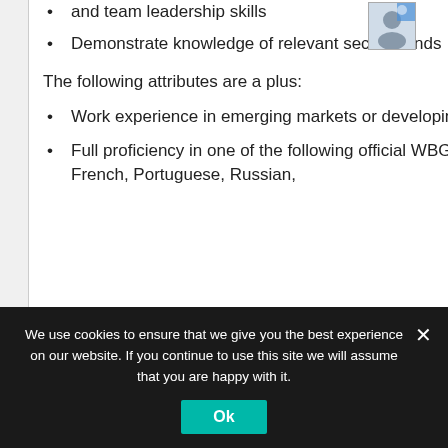and team leadership skills
Demonstrate knowledge of relevant sector trends
The following attributes are a plus:
Work experience in emerging markets or developing countries
Full proficiency in one of the following official WBG languages: Arabic, Chinese, French, Portuguese, Russian,
[Figure (photo): Small profile photo thumbnail in top right corner]
We use cookies to ensure that we give you the best experience on our website. If you continue to use this site we will assume that you are happy with it.